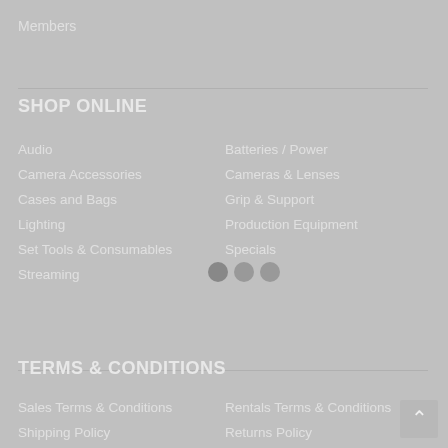Members
SHOP ONLINE
Audio
Batteries / Power
Camera Accessories
Cameras & Lenses
Cases and Bags
Grip & Support
Lighting
Production Equipment
Set Tools & Consumables
Specials
Streaming
TERMS & CONDITIONS
Sales Terms & Conditions
Rentals Terms & Conditions
Shipping Policy
Returns Policy